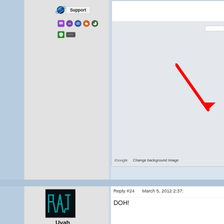[Figure (screenshot): Forum post screenshot showing a user profile sidebar with a Support badge, colored achievement badges/icons, and a screenshot of iGoogle/Google homepage with a red arrow pointing to 'Change background image' link. Bottom section shows user avatar with username 'Uvah' and reply #24 dated March 5, 2012 with text 'DOH!']
Support
Reply #24    March 5, 2012 2:37:
DOH!
Uvah
iGoogle    Change background image